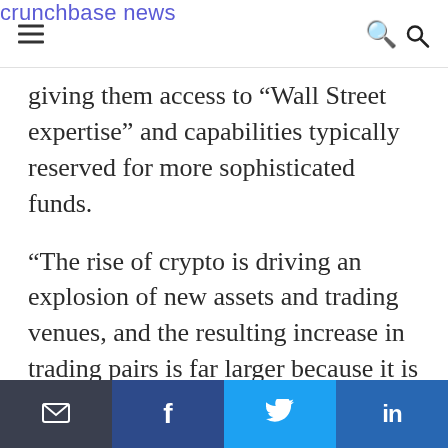crunchbase news
giving them access to “Wall Street expertise” and capabilities typically reserved for more sophisticated funds.
“The rise of crypto is driving an explosion of new assets and trading venues, and the resulting increase in trading pairs is far larger because it is some multiple of the two,” Gibson said via email. “All these new trading
email | f | twitter | in